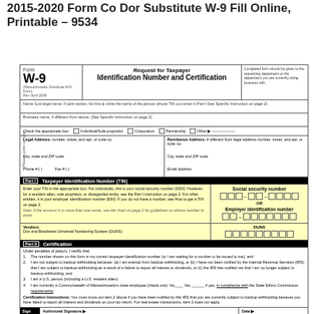2015-2020 Form Co Dor Substitute W-9 Fill Online, Printable – 9534
[Figure (other): IRS W-9 form: Request for Taxpayer Identification Number and Certification (Massachusetts Substitute W-9 Form), including fields for name, business name, address, TIN, certification, and signature.]